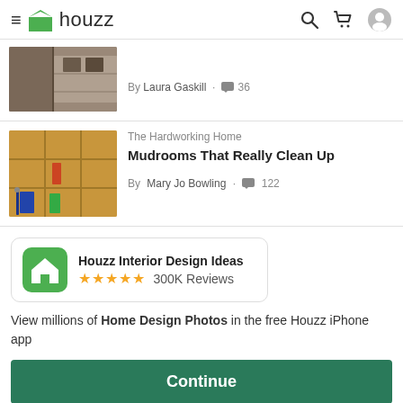houzz
[Figure (screenshot): Thumbnail image of a storage/garage area with shelves and hanging items]
By Laura Gaskill · 36
[Figure (photo): Thumbnail image of a wooden mudroom cubby organizer with hooks and shelves]
The Hardworking Home
Mudrooms That Really Clean Up
By Mary Jo Bowling · 122
[Figure (logo): Houzz app icon - green square with white H shape]
Houzz Interior Design Ideas ★★★★★ 300K Reviews
View millions of Home Design Photos in the free Houzz iPhone app
Continue
Go to Mobile Site